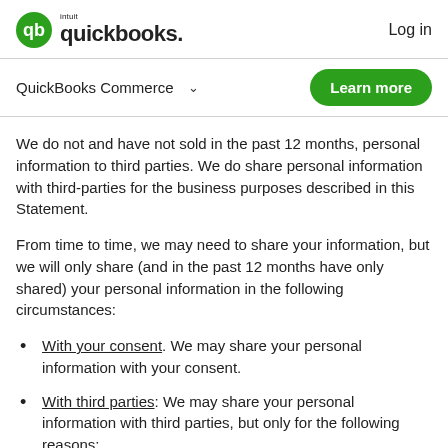intuit quickbooks. Log in
QuickBooks Commerce
We do not and have not sold in the past 12 months, personal information to third parties. We do share personal information with third-parties for the business purposes described in this Statement.
From time to time, we may need to share your information, but we will only share (and in the past 12 months have only shared) your personal information in the following circumstances:
With your consent. We may share your personal information with your consent.
With third parties: We may share your personal information with third parties, but only for the following reasons: